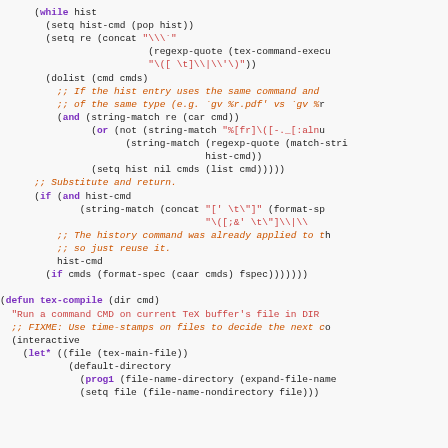Emacs Lisp source code snippet showing while loop, dolist, if, and defun tex-compile forms